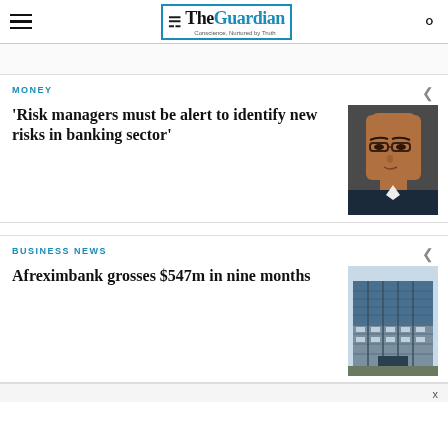The Guardian — Conscience, Nurtured by Truth
MONEY
‘Risk managers must be alert to identify new risks in banking sector’
[Figure (photo): Portrait photo of a man wearing glasses in a suit, close-up headshot against a dark background]
BUSINESS NEWS
Afreximbank grosses $547m in nine months
[Figure (photo): Photo of a tall modern building exterior with blue glass and white grid facade]